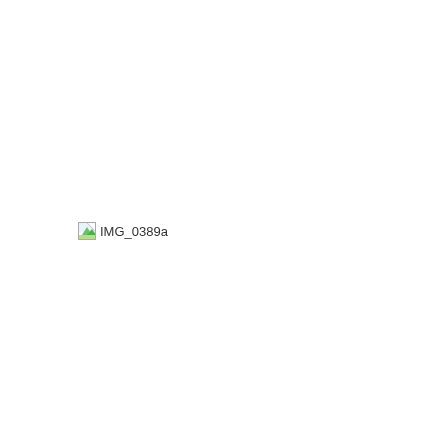[Figure (photo): Broken/missing image placeholder showing a small image icon with broken corner and the filename text 'IMG_0389a']